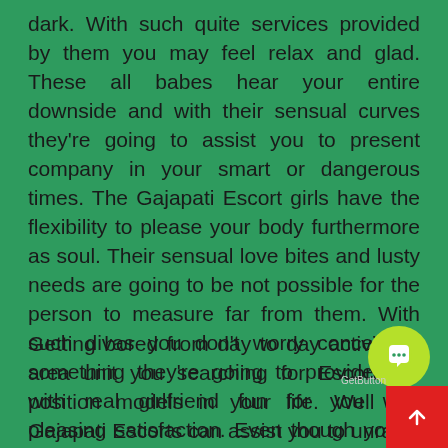dark. With such quite services provided by them you may feel relax and glad. These all babes hear your entire downside and with their sensual curves they're going to assist you to present company in your smart or dangerous times. The Gajapati Escort girls have the flexibility to please your body furthermore as soul. Their sensual love bites and lusty needs are going to be not possible for the person to measure far from them. With such divas you don't worry concerning something they're going to provide you with real girlfriend fun for you with pleasing satisfaction. Even though you're back or ne'er gone on a date with anyone these divas can give you an honest category services that each man desires in his life.
Getting bored from day to day activity or area unit you searching for Escorts or position models in your life. Well our Gajapati Escorts can assist you to unravel downside with a relaxed facility for each man. A great deal of facilities provided by Gajapati Escorts and by